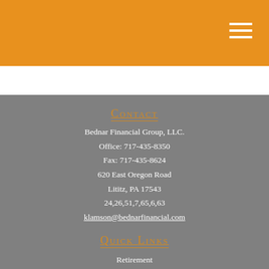Contact
Bednar Financial Group, LLC.
Office: 717-435-8350
Fax: 717-435-8624
620 East Oregon Road
Lititz, PA 17543
24,26,51,7,65,6,63
klamson@bednarfinancial.com
Quick Links
Retirement
Investment
Estate
Insurance